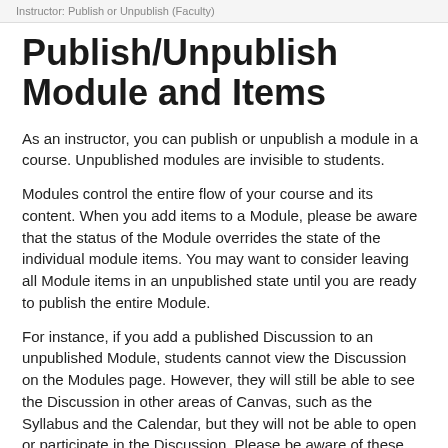Instructor: Publish or Unpublish (Faculty)
Publish/Unpublish Module and Items
As an instructor, you can publish or unpublish a module in a course. Unpublished modules are invisible to students.
Modules control the entire flow of your course and its content. When you add items to a Module, please be aware that the status of the Module overrides the state of the individual module items. You may want to consider leaving all Module items in an unpublished state until you are ready to publish the entire Module.
For instance, if you add a published Discussion to an unpublished Module, students cannot view the Discussion on the Modules page. However, they will still be able to see the Discussion in other areas of Canvas, such as the Syllabus and the Calendar, but they will not be able to open or participate in the Discussion. Please be aware of these potential scenarios when adding course content to a Module.